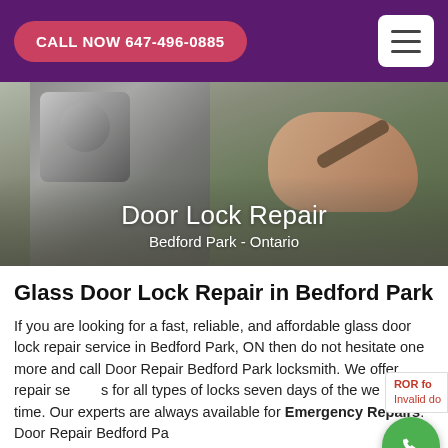CALL NOW 647-496-0885
[Figure (photo): Hero image showing a hand using a tool on a door lock mechanism, with text overlay 'Door Lock Repair Bedford Park - Ontario']
Glass Door Lock Repair in Bedford Park
If you are looking for a fast, reliable, and affordable glass door lock repair service in Bedford Park, ON then do not hesitate one more and call Door Repair Bedford Park locksmith. We offer repair services for all types of locks seven days of the week any time. Our experts are always available for Emergency Repairs. Door Repair Bedford Park...